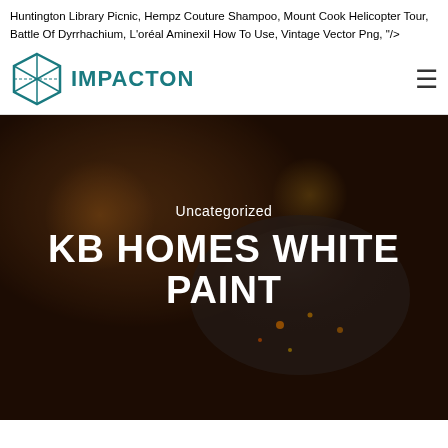Huntington Library Picnic, Hempz Couture Shampoo, Mount Cook Helicopter Tour, Battle Of Dyrrhachium, L'oréal Aminexil How To Use, Vintage Vector Png, "/>
[Figure (logo): Impacton logo: teal hexagon with cube icon and IMPACTON text]
[Figure (photo): Dark moody hero image of a glass jar lying on its side with glowing light particles, dark brown background with bokeh light. Overlaid text: 'Uncategorized' and 'KB HOMES WHITE PAINT']
KB HOMES WHITE PAINT
Uncategorized